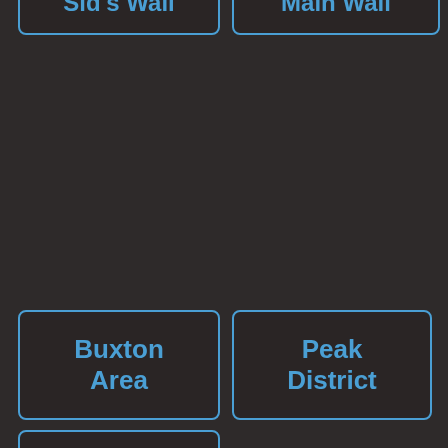[Figure (screenshot): Dark-themed navigation menu UI with buttons: 'Sid's Wall', 'Main Wall', 'Buxton Area', 'Peak District', 'Home' arranged in a grid layout with blue-bordered rounded rectangle buttons on a dark brown background.]
Sid's Wall
Main Wall
Buxton Area
Peak District
Home